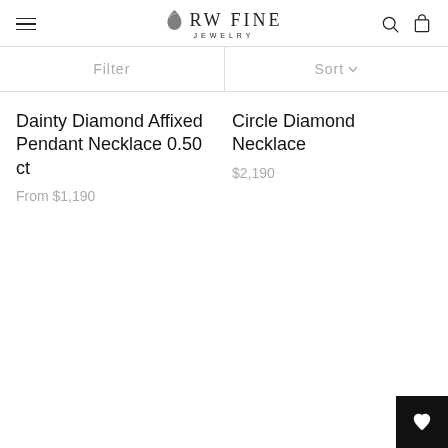RW FINE JEWELRY
Filter
Sort
Dainty Diamond Affixed Pendant Necklace 0.50 ct
From $1,190
Circle Diamond Necklace
$2,190